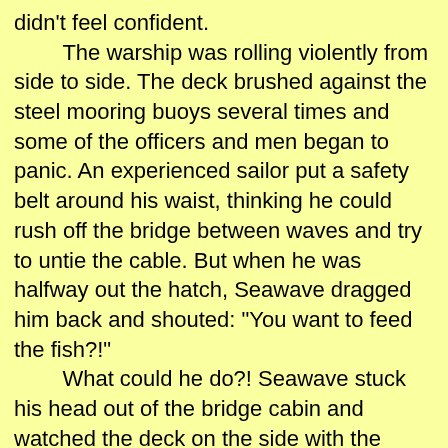didn't feel confident.

The warship was rolling violently from side to side. The deck brushed against the steel mooring buoys several times and some of the officers and men began to panic. An experienced sailor put a safety belt around his waist, thinking he could rush off the bridge between waves and try to untie the cable. But when he was halfway out the hatch, Seawave dragged him back and shouted: "You want to feed the fish?!"

What could he do?! Seawave stuck his head out of the bridge cabin and watched the deck on the side with the cable yaw up and down with the waves. The thousand-ton buoy's drag on the ship's cable was unusually strong. As the ship rolled with the wind and the waves, the cable would sink into the water momentarily, then snap out of the water and stretch straight across the sea, spraying large drops of water and mist whenever it was stretched